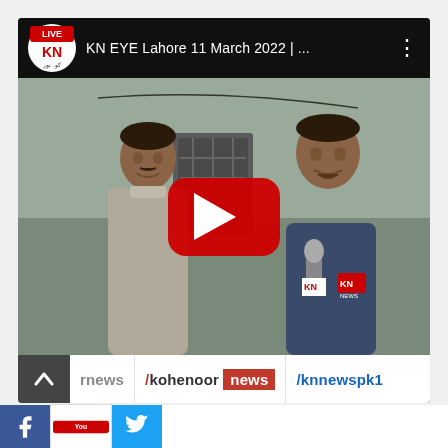[Figure (screenshot): YouTube video thumbnail showing two men being interviewed outdoors in Lahore. The video is from KN (Kohenoor News) channel, titled 'KN EYE Lahore 11 March 2022 | ...' with a red YouTube play button overlay in the center. Bottom bar shows social media handles: /rnews, /kohenoor news, /knnewspk1. There is a scroll-up arrow button on the bottom left.]